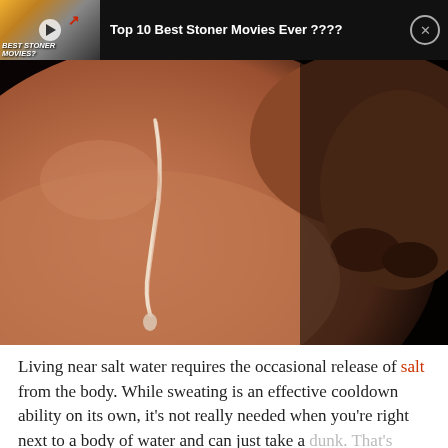[Figure (screenshot): Ad overlay on dark bar showing video thumbnail for 'Best Stoner Movies?' with title 'Top 10 Best Stoner Movies Ever ????' and close button]
[Figure (photo): Close-up macro photo of a human nose and cheek with a tear or sweat droplet streak running down the skin against a dark background]
Living near salt water requires the occasional release of salt from the body. While sweating is an effective cooldown ability on its own, it's not really needed when you're right next to a body of water and can just take a dunk. That's where tears come in handy.[6]